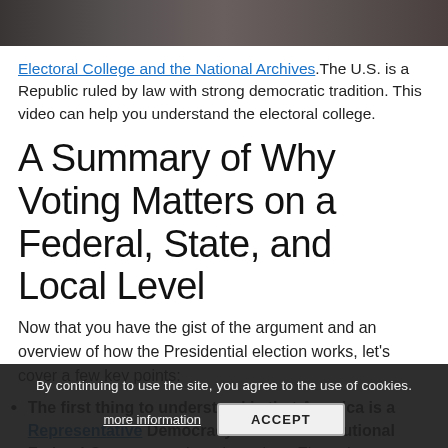[Figure (photo): Cropped photo strip showing a crowd of people in formal attire, appears to be a government or official event setting.]
Electoral College and the National Archives. The U.S. is a Republic ruled by law with strong democratic tradition. This video can help you understand the electoral college.
A Summary of Why Voting Matters on a Federal, State, and Local Level
Now that you have the gist of the argument and an overview of how the Presidential election works, let's cover a few key points:
The first thing to understand is that America is a Representative Democracy with a Constitutional Federal Government three branches. Elected representatives make the laws, vote on the laws, and pick the President